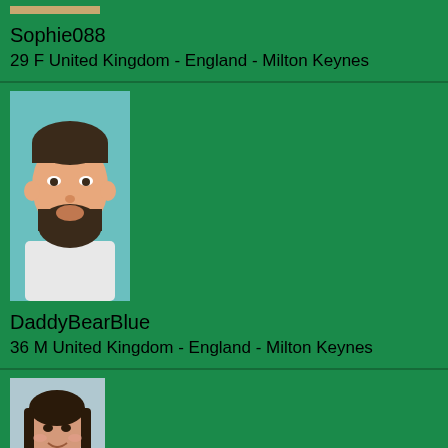[Figure (photo): Partial profile photo of Sophie088, cropped at top]
Sophie088
29 F United Kingdom - England - Milton Keynes
[Figure (illustration): Illustrated cartoon avatar of a bearded man for DaddyBearBlue]
DaddyBearBlue
36 M United Kingdom - England - Milton Keynes
[Figure (photo): Photo of a young girl smiling for Outdoorgirl94]
Outdoorgirl94
28 F United Kingdom - England - Milton Keynes
[Figure (photo): Partial profile photo, fourth user, cropped at bottom]